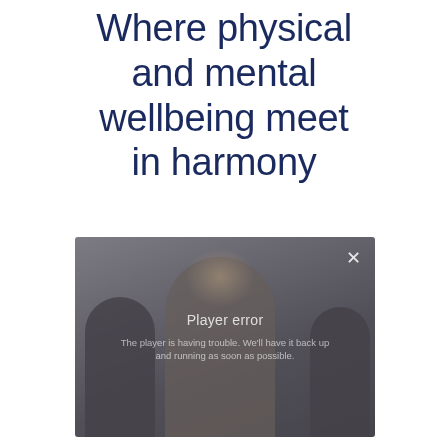Where physical and mental wellbeing meet in harmony
[Figure (screenshot): Video player showing blurred/dark silhouettes of people against a grey-blue foggy background. An error message overlay reads 'Player error' with subtitle 'The player is having trouble. We'll have it back up and running as soon as possible.' A close button (×) appears in the top-right corner.]